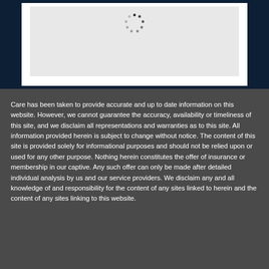[Figure (screenshot): A white panel with a gray loading area containing a spinning dots indicator, set against a dark navy background.]
Care has been taken to provide accurate and up to date information on this website. However, we cannot guarantee the accuracy, availability or timeliness of this site, and we disclaim all representations and warranties as to this site. All information provided herein is subject to change without notice. The content of this site is provided solely for informational purposes and should not be relied upon or used for any other purpose. Nothing herein constitutes the offer of insurance or membership in our captive. Any such offer can only be made after detailed individual analysis by us and our service providers. We disclaim any and all knowledge of and responsibility for the content of any sites linked to herein and the content of any sites linking to this website.